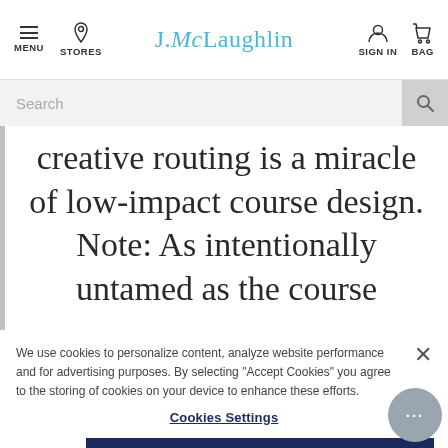J.McLaughlin — MENU | STORES | SIGN IN | BAG
Search
creative routing is a miracle of low-impact course design. Note: As intentionally untamed as the course
We use cookies to personalize content, analyze website performance and for advertising purposes. By selecting “Accept Cookies” you agree to the storing of cookies on your device to enhance these efforts.
Cookies Settings
Reject All
Accept All Cookies